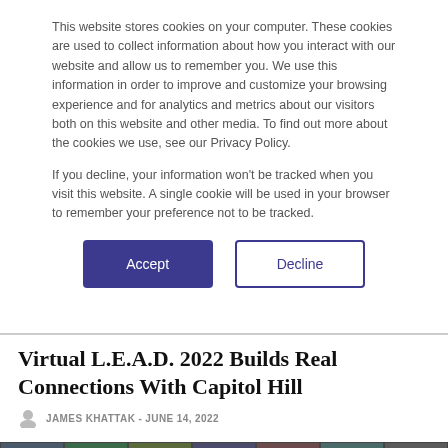This website stores cookies on your computer. These cookies are used to collect information about how you interact with our website and allow us to remember you. We use this information in order to improve and customize your browsing experience and for analytics and metrics about our visitors both on this website and other media. To find out more about the cookies we use, see our Privacy Policy.
If you decline, your information won't be tracked when you visit this website. A single cookie will be used in your browser to remember your preference not to be tracked.
Accept
Decline
Virtual L.E.A.D. 2022 Builds Real Connections With Capitol Hill
JAMES KHATTAK - JUNE 14, 2022
[Figure (screenshot): Screenshot of a video conference call showing multiple participant thumbnails at the top and a main speaker (older male) in the center, with a framed document/certificate visible in the background.]